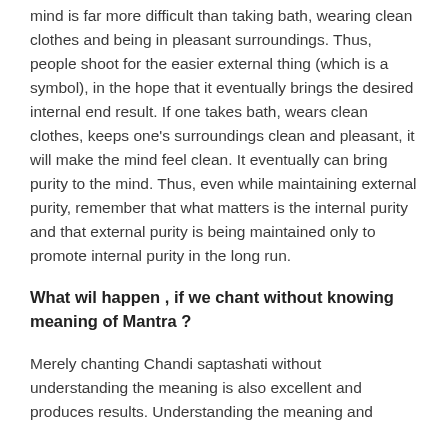mind is far more difficult than taking bath, wearing clean clothes and being in pleasant surroundings. Thus, people shoot for the easier external thing (which is a symbol), in the hope that it eventually brings the desired internal end result. If one takes bath, wears clean clothes, keeps one's surroundings clean and pleasant, it will make the mind feel clean. It eventually can bring purity to the mind. Thus, even while maintaining external purity, remember that what matters is the internal purity and that external purity is being maintained only to promote internal purity in the long run.
What wil happen , if we chant without knowing meaning of Mantra ?
Merely chanting Chandi saptashati without understanding the meaning is also excellent and produces results. Understanding the meaning and